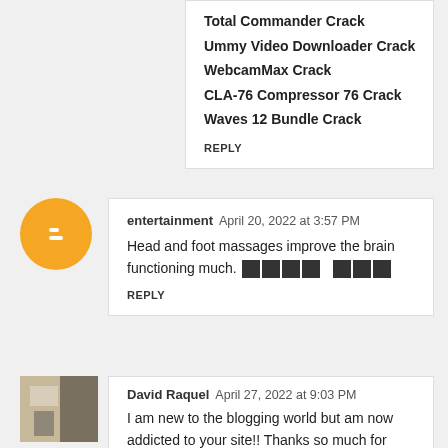Total Commander Crack
Ummy Video Downloader Crack
WebcamMax Crack
CLA-76 Compressor 76 Crack
Waves 12 Bundle Crack
REPLY
entertainment  April 20, 2022 at 3:57 PM
Head and foot massages improve the brain functioning much. 🅱🅱🅱🅱 🅱🅱🅱
REPLY
David Raquel  April 27, 2022 at 9:03 PM
I am new to the blogging world but am now addicted to your site!! Thanks so much for your awesome ideas to help me in my fifth grade classroom.🔲🔲🔲🔲🔲🔲